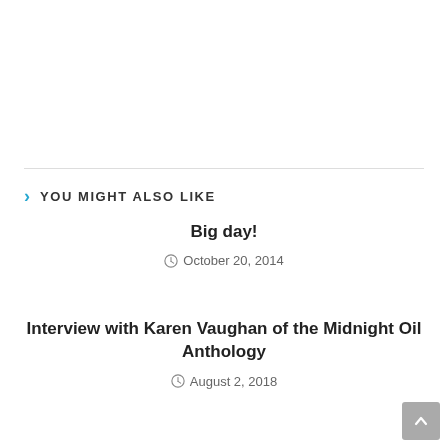YOU MIGHT ALSO LIKE
Big day!
October 20, 2014
Interview with Karen Vaughan of the Midnight Oil Anthology
August 2, 2018